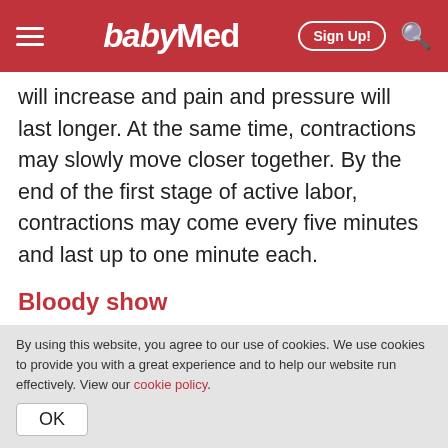babyMed | Sign Up!
will increase and pain and pressure will last longer. At the same time, contractions may slowly move closer together. By the end of the first stage of active labor, contractions may come every five minutes and last up to one minute each.
Bloody show
Women may notice bloody show during the first stage of active labor. Bloody show is a mixture of vaginal mucus and a small amount of blood.
By using this website, you agree to our use of cookies. We use cookies to provide you with a great experience and to help our website run effectively. View our cookie policy.